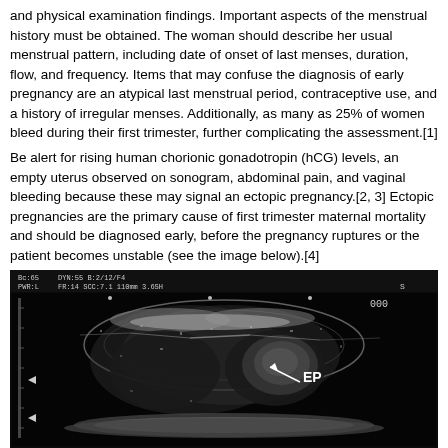and physical examination findings. Important aspects of the menstrual history must be obtained. The woman should describe her usual menstrual pattern, including date of onset of last menses, duration, flow, and frequency. Items that may confuse the diagnosis of early pregnancy are an atypical last menstrual period, contraceptive use, and a history of irregular menses. Additionally, as many as 25% of women bleed during their first trimester, further complicating the assessment.[1]
Be alert for rising human chorionic gonadotropin (hCG) levels, an empty uterus observed on sonogram, abdominal pain, and vaginal bleeding because these may signal an ectopic pregnancy.[2, 3] Ectopic pregnancies are the primary cause of first trimester maternal mortality and should be diagnosed early, before the pregnancy ruptures or the patient becomes unstable (see the image below).[4]
[Figure (photo): Ultrasound image (sonogram) in black and white showing an ectopic pregnancy (EP) labeled with an arrow pointing to the ectopic pregnancy mass. The image has a dark background with ultrasound scan header information visible at the top including PWR:L, FR:14, and other technical parameters.]